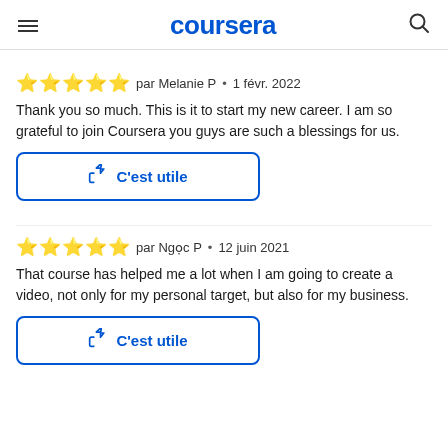coursera
par Melanie P • 1 févr. 2022
Thank you so much. This is it to start my new career. I am so grateful to join Coursera you guys are such a blessings for us.
C'est utile
par Ngọc P • 12 juin 2021
That course has helped me a lot when I am going to create a video, not only for my personal target, but also for my business.
C'est utile